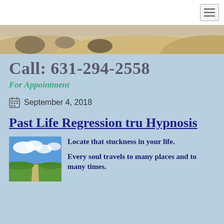Navigation bar with hamburger menu
[Figure (photo): Hero banner image showing sandy beach/desert terrain with some vegetation and rocks]
Call: 631-294-2558
For Appointment
September 4, 2018
Past Life Regression tru Hypnosis
[Figure (photo): Landscape photo showing a rural road through green fields under a blue sky with white clouds]
Locate that stuckness in your life.
Every soul travels to many places and to many times.